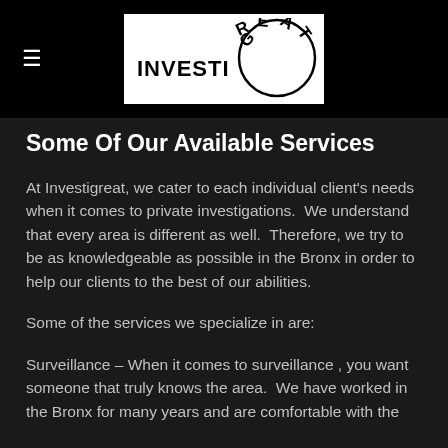[Figure (logo): InvestiGreat logo — white box with 'INVESTI' text and 'GREAT' in circular arc style lettering in black]
Some Of Our Available Services
At Investigreat, we cater to each individual client's needs when it comes to private investigations.  We understand that every area is different as well.  Therefore, we try to be as knowledgeable as possible in the Bronx in order to help our clients to the best of our abilities.
Some of the services we specialize in are:
Surveillance – When it comes to surveillance , you want someone that truly knows the area.  We have worked in the Bronx for many years and are comfortable with the